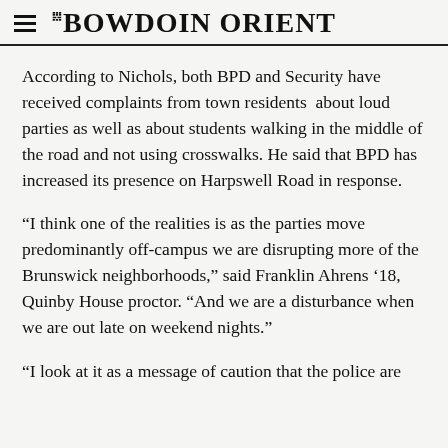THE BOWDOIN ORIENT
According to Nichols, both BPD and Security have received complaints from town residents about loud parties as well as about students walking in the middle of the road and not using crosswalks. He said that BPD has increased its presence on Harpswell Road in response.
“I think one of the realities is as the parties move predominantly off-campus we are disrupting more of the Brunswick neighborhoods,” said Franklin Ahrens ’18, Quinby House proctor. “And we are a disturbance when we are out late on weekend nights.”
“I look at it as a message of caution that the police are